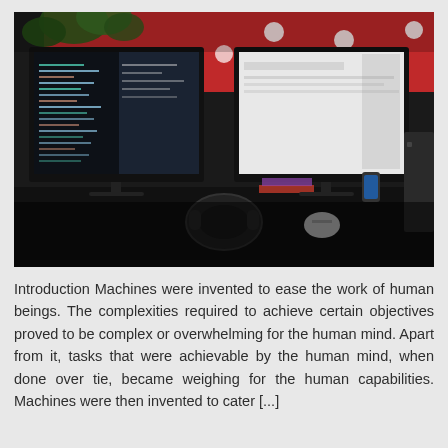[Figure (photo): A photo of a dual-monitor computer desk setup. The left monitor shows code/terminal with dark background and white text. The right monitor shows a lighter display. On the desk there are headphones, a mouse, books, and other accessories. In the background there is a red wall with white polka dots and a plant.]
Introduction Machines were invented to ease the work of human beings. The complexities required to achieve certain objectives proved to be complex or overwhelming for the human mind. Apart from it, tasks that were achievable by the human mind, when done over tie, became weighing for the human capabilities. Machines were then invented to cater [...]